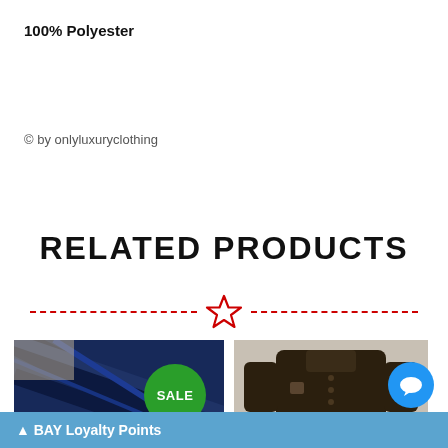100% Polyester
© by onlyluxuryclothing
RELATED PRODUCTS
[Figure (illustration): Decorative divider with a red dashed line and a red star outline in the center]
[Figure (photo): Product image of a dark blue plaid fabric with a green SALE badge overlay]
[Figure (photo): Product image of a dark brown sweater/polo shirt]
BAY Loyalty Points